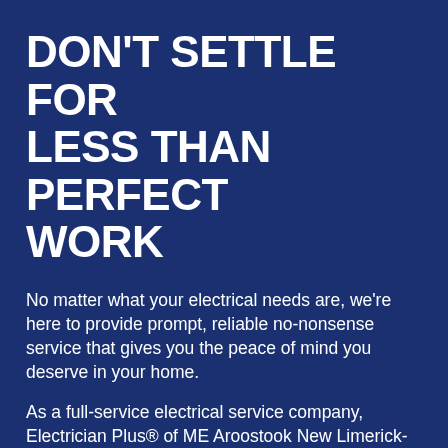DON'T SETTLE FOR LESS THAN PERFECT WORK
No matter what your electrical needs are, we're here to provide prompt, reliable no-nonsense service that gives you the peace of mind you deserve in your home.
As a full-service electrical service company, Electrician Plus® of ME Aroostook New Limerick-4761 can handle any electrical problem you have in your home. Not only do we show up on time and get right to work, but we get to work with safety always at the front of our minds. You can also be